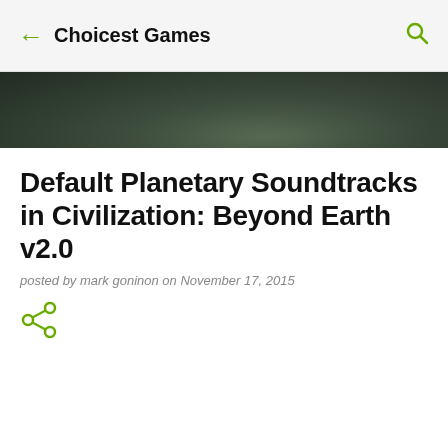← Choicest Games 🔍
[Figure (photo): Blurred dark background hero image]
Default Planetary Soundtracks in Civilization: Beyond Earth v2.0
posted by mark goninon on November 17, 2015
[Figure (screenshot): Civilization: Beyond Earth game screenshot showing hexagonal map with alien landscape, cities, and HUD elements]